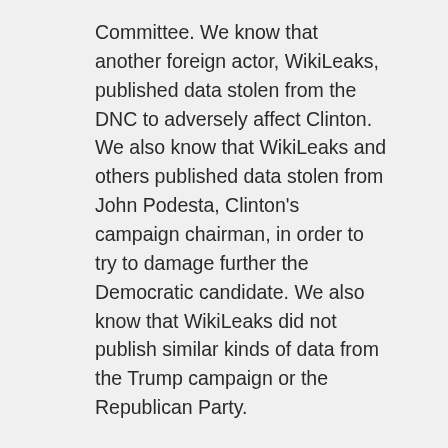Committee. We know that another foreign actor, WikiLeaks, published data stolen from the DNC to adversely affect Clinton. We also know that WikiLeaks and others published data stolen from John Podesta, Clinton's campaign chairman, in order to try to damage further the Democratic candidate. We also know that WikiLeaks did not publish similar kinds of data from the Trump campaign or the Republican Party.
We do not know precisely if the Russian government or its intermediaries transferred the data they stole to WikiLeaks. We do not know with certainty if the Russian government (or any other actor) stole data from Trump and the Republican Party but chose not to release it to WikiLeaks. We